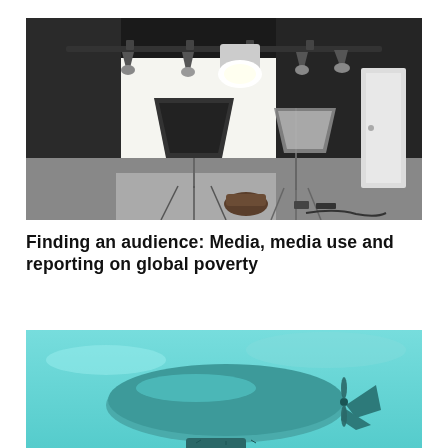[Figure (photo): A photography studio interior with black walls, multiple studio lights on a rig overhead, softbox modifiers, a white backdrop, and camera equipment on the floor]
Finding an audience: Media, media use and reporting on global poverty
[Figure (photo): A teal/turquoise colored blimp or airship against a light blue sky background]